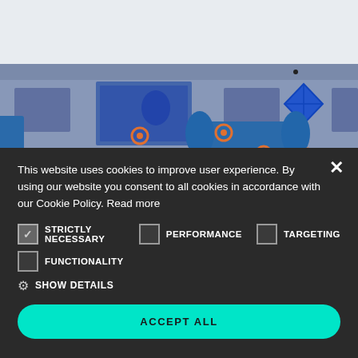[Figure (photo): Industrial or manufacturing facility scene with blue equipment, tanks, orange markers/sensors, and a poster/sign on the wall. Upper portion is lighter grey/white, lower portion shows the facility interior.]
This website uses cookies to improve user experience. By using our website you consent to all cookies in accordance with our Cookie Policy. Read more
STRICTLY NECESSARY (checked)
PERFORMANCE (unchecked)
TARGETING (unchecked)
FUNCTIONALITY (unchecked)
SHOW DETAILS
ACCEPT ALL